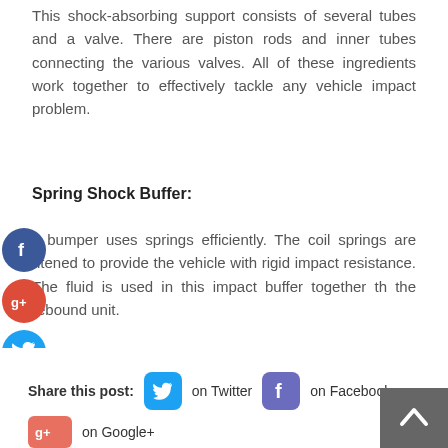This shock-absorbing support consists of several tubes and a valve. There are piston rods and inner tubes connecting the various valves. All of these ingredients work together to effectively tackle any vehicle impact problem.
Spring Shock Buffer:
s bumper uses springs efficiently. The coil springs are htened to provide the vehicle with rigid impact resistance. The fluid is used in this impact buffer together th the rebound unit.
[Figure (other): Social media share icons on left side: Facebook (blue circle), Google+ (red circle), Twitter (blue circle), Add/Plus (dark blue circle)]
Share this post: on Twitter on Facebook on Google+